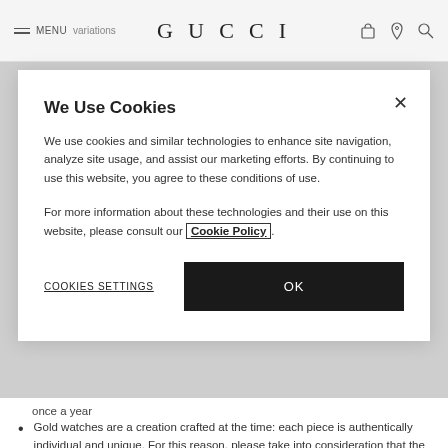MENU variations GUCCI
We Use Cookies
We use cookies and similar technologies to enhance site navigation, analyze site usage, and assist our marketing efforts. By continuing to use this website, you agree to these conditions of use.
For more information about these technologies and their use on this website, please consult our Cookie Policy.
COOKIES SETTINGS
OK
once a year
Gold watches are a creation crafted at the time: each piece is authentically individual and unique. For this reason, please take into consideration that the pieces are not water resistant and for no reason should be immersed into the water or rinsed
Make sure that the crown is always pushed back into the normal